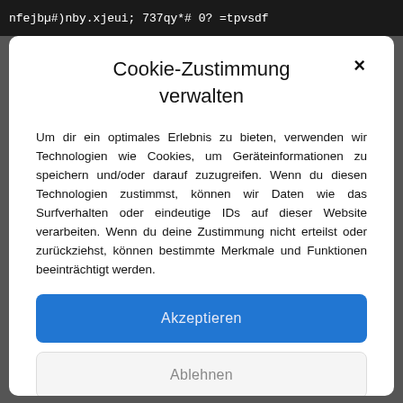nfejbµ#)nby.xjeui; 737qy*# 0? =tpvsdf
Cookie-Zustimmung verwalten
Um dir ein optimales Erlebnis zu bieten, verwenden wir Technologien wie Cookies, um Geräteinformationen zu speichern und/oder darauf zuzugreifen. Wenn du diesen Technologien zustimmst, können wir Daten wie das Surfverhalten oder eindeutige IDs auf dieser Website verarbeiten. Wenn du deine Zustimmung nicht erteilst oder zurückziehst, können bestimmte Merkmale und Funktionen beeinträchtigt werden.
Akzeptieren
Ablehnen
Einstellungen ansehen